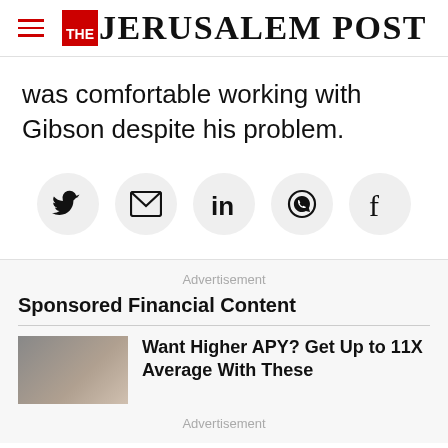THE JERUSALEM POST
was comfortable working with Gibson despite his problem.
[Figure (other): Social share buttons row: Twitter, Email, LinkedIn, WhatsApp, Facebook]
Advertisement
Sponsored Financial Content
[Figure (photo): Thumbnail photo of a person with curly hair looking down]
Want Higher APY? Get Up to 11X Average With These
Advertisement